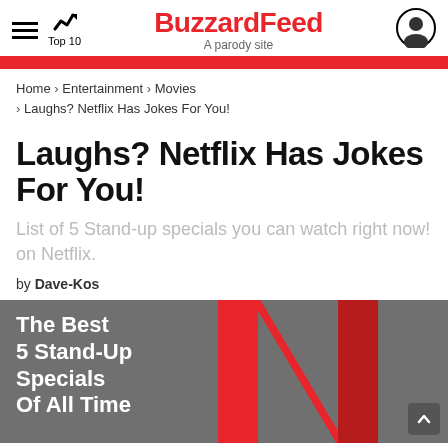BuzzardFeed – A parody site | Top 10
Home › Entertainment › Movies › Laughs? Netflix Has Jokes For You!
Laughs? Netflix Has Jokes For You!
List of 5 Stand-up specials you can watch right now! on Netflix.
by Dave-Kos
[Figure (illustration): Dark gray background image with white bold text reading 'The Best 5 Stand-Up Specials Of All Time' on the left, and a large Netflix red 'N' logo on the right.]